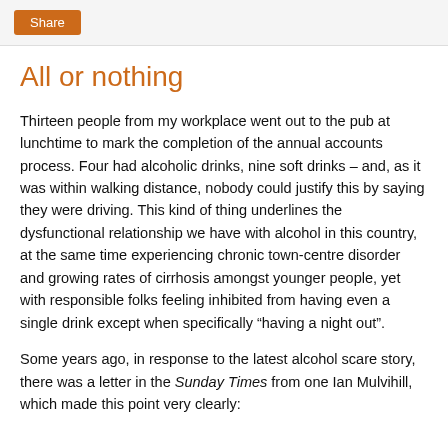Share
All or nothing
Thirteen people from my workplace went out to the pub at lunchtime to mark the completion of the annual accounts process. Four had alcoholic drinks, nine soft drinks – and, as it was within walking distance, nobody could justify this by saying they were driving. This kind of thing underlines the dysfunctional relationship we have with alcohol in this country, at the same time experiencing chronic town-centre disorder and growing rates of cirrhosis amongst younger people, yet with responsible folks feeling inhibited from having even a single drink except when specifically “having a night out”.
Some years ago, in response to the latest alcohol scare story, there was a letter in the Sunday Times from one Ian Mulvihill, which made this point very clearly: